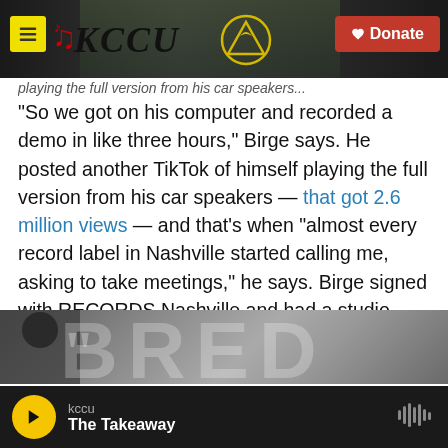KCCU | Donate
"So we got on his computer and recorded a demo in like three hours," Birge says. He posted another TikTok of himself playing the full version from his car speakers — that got 2.6 million views — and that's when "almost every record label in Nashville started calling me, asking to take meetings," he says. Birge signed with RECORDS Nashville and had a studio version recorded by February.
[Figure (photo): Background image showing large stylized letters, appears to be album or show artwork with dark tones]
kccu | The Takeaway